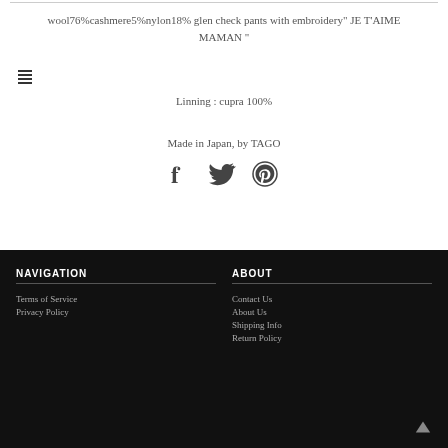wool76%cashmere5%nylon18% glen check pants with embroidery" JE T'AIME MAMAN "
[Figure (other): Hamburger menu icon (three horizontal lines)]
Linning : cupra 100%
Made in Japan, by TAGO
[Figure (other): Social media icons: Facebook, Twitter, Pinterest]
NAVIGATION
Terms of Service
Privacy Policy
ABOUT
Contact Us
About Us
Shipping Info
Return Policy